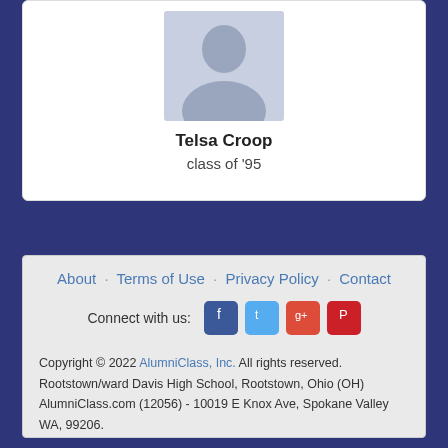[Figure (illustration): Default user avatar silhouette with light grey/blue background]
Telsa Croop
class of '95
About · Terms of Use · Privacy Policy · Contact
Connect with us: [Facebook] [Twitter] [Google+] [Pinterest]
Copyright © 2022 AlumniClass, Inc. All rights reserved.
Rootstown/ward Davis High School, Rootstown, Ohio (OH)
AlumniClass.com (12056) - 10019 E Knox Ave, Spokane Valley WA, 99206.
AlumniClass.com is not affiliated with and is independent of any school, school district, alumni association or any other sites.